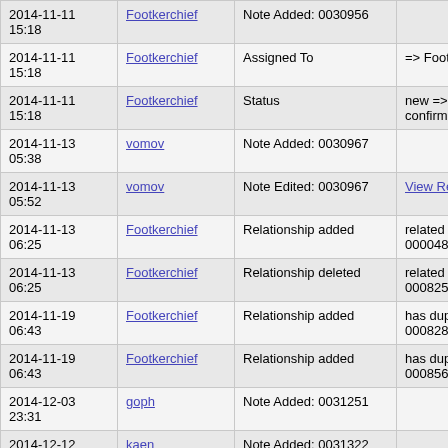| Date | User | Action | Value |
| --- | --- | --- | --- |
| 2014-11-11 15:18 | Footkerchief | Note Added: 0030956 |  |
| 2014-11-11 15:18 | Footkerchief | Assigned To | => Footkerchief |
| 2014-11-11 15:18 | Footkerchief | Status | new => confirmed |
| 2014-11-13 05:38 | vomov | Note Added: 0030967 |  |
| 2014-11-13 05:52 | vomov | Note Edited: 0030967 | View Revisions |
| 2014-11-13 06:25 | Footkerchief | Relationship added | related to 0000481 |
| 2014-11-13 06:25 | Footkerchief | Relationship deleted | related to 0008250 |
| 2014-11-19 06:43 | Footkerchief | Relationship added | has duplicate 0008288 |
| 2014-11-19 06:43 | Footkerchief | Relationship added | has duplicate 0008564 |
| 2014-12-03 23:31 | goph | Note Added: 0031251 |  |
| 2014-12-12 17:45 | kaen | Note Added: 0031322 |  |
| 2014-12-28 09:47 | lethosor | Relationship added | has duplicate 0008394 |
| 2014-12-28 09:49 | lethosor | Note Added: 0031538 |  |
| 2014-12-28 09:49 | lethosor | Additional Information Updated | View Revisions |